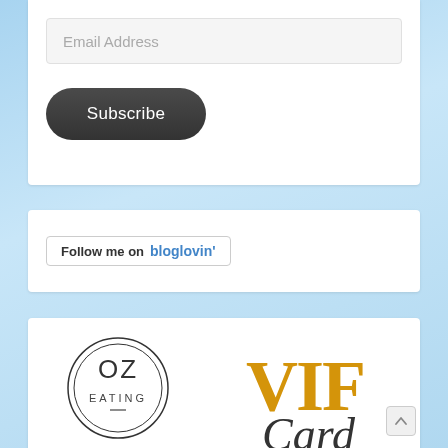Email Address
Subscribe
[Figure (logo): Follow me on bloglovin' badge with border]
[Figure (logo): OZ Eating Blogger circular logo]
[Figure (logo): VIF Card logo with gold VIF letters and script Card text]
BLOGGER